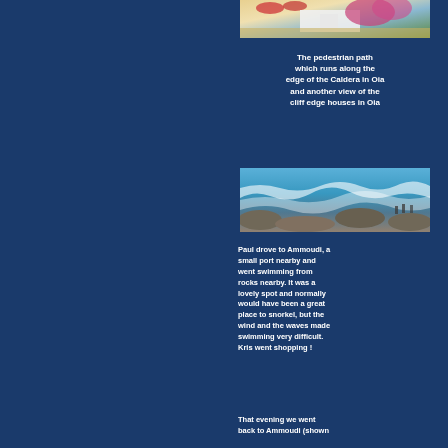[Figure (photo): Aerial or close-up view of whitewashed buildings with bougainvillea flowers and beach umbrellas]
The pedestrian path which runs along the edge of the Caldera in Oia and another view of the cliff edge houses in Oia
[Figure (photo): Rocky coastline with turquoise waves crashing, people swimming and sunbathing on rocks at Ammoudi]
Paul drove to Ammoudi, a small port nearby and went swimming from rocks nearby. It was a lovely spot and normally would have been a great place to snorkel, but the wind and the waves made swimming very difficult. Kris went shopping !
That evening we went back to Ammoudi (shown